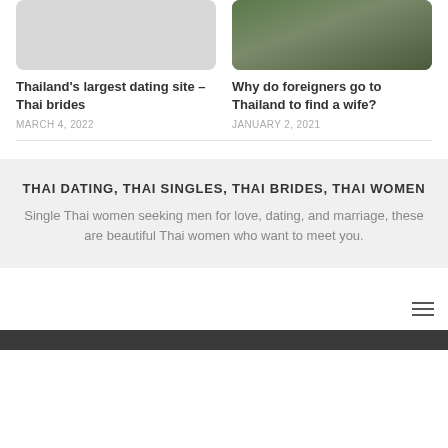[Figure (photo): Left card placeholder image (gray rectangle)]
[Figure (photo): Right card photo of a woman with a child outdoors]
Thailand's largest dating site – Thai brides
MARCH 4, 2022
Why do foreigners go to Thailand to find a wife?
JANUARY 2, 2021
THAI DATING, THAI SINGLES, THAI BRIDES, THAI WOMEN
Single Thai women seeking men for love, dating, and marriage, these are beautiful Thai women who want to meet you.